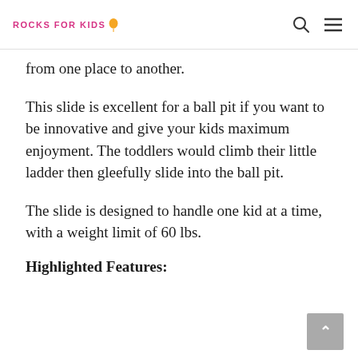ROCKS FOR KIDS
from one place to another.
This slide is excellent for a ball pit if you want to be innovative and give your kids maximum enjoyment. The toddlers would climb their little ladder then gleefully slide into the ball pit.
The slide is designed to handle one kid at a time, with a weight limit of 60 lbs.
Highlighted Features: